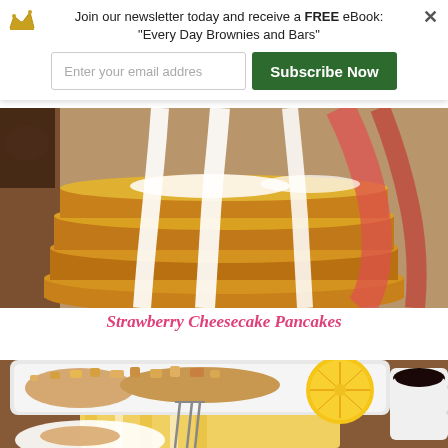Join our newsletter today and receive a FREE eBook: "Every Day Brownies and Bars"
[Figure (screenshot): Email subscription form with text input field 'Enter your email addres' and green 'Subscribe Now' button]
[Figure (photo): Stack of pancakes with white cream cheese glaze dripping down the sides and strawberry sauce, close-up food photography]
Strawberry Cheesecake Pancakes
[Figure (photo): White baking dish with crumble topping, lemon half, white ramekin with dark liquid, fork on a white plate, yellow striped napkin on wooden table]